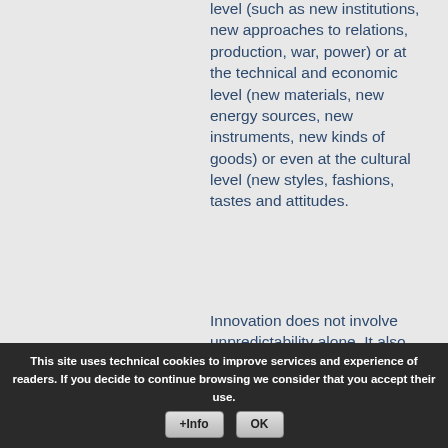level (such as new institutions, new approaches to relations, production, war, power) or at the technical and economic level (new materials, new energy sources, new instruments, new kinds of goods) or even at the cultural level (new styles, fashions, tastes and attitudes.
Innovation does not involve unpredictability alone. It also encompasses the second theme in my title:
b) social risk
This site uses technical cookies to improve services and experience of readers. If you decide to continue browsing we consider that you accept their use.